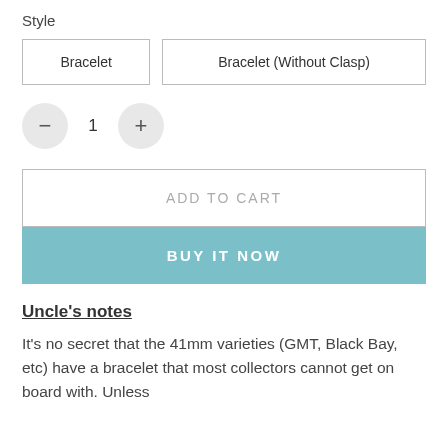Style
Bracelet
Bracelet (Without Clasp)
1
ADD TO CART
BUY IT NOW
Uncle's notes
It's no secret that the 41mm varieties (GMT, Black Bay, etc) have a bracelet that most collectors cannot get on board with. Unless